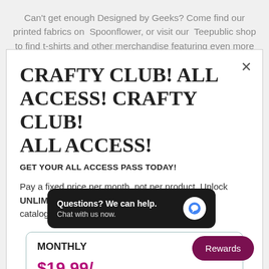Can't get enough Designed by Geeks? Come find our printed fabrics on Spoonflower, or visit our Teepublic shop to find t-shirts and other merchandise featuring even more
CRAFTY CLUB! ALL ACCESS! CRAFTY CLUB! ALL ACCESS!
GET YOUR ALL ACCESS PASS TODAY!
Pay a fixed price per month, not per product. Unlock UNLIMITED access to all 2000+ designs in our catalogue!
MONTHLY
$19.99/ Instant Ac
Questions? We can help. Chat with us now.
Rewards